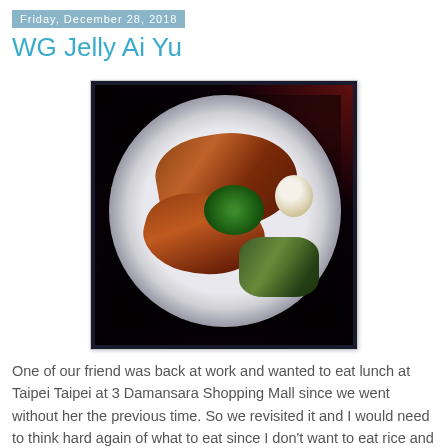Friday, December 28, 2018
WG Jelly Ai Yu
[Figure (photo): A plate of braised pork belly with herbs, pickled vegetables, and a boiled egg, served on a white/blue-rimmed plate on a dark background.]
One of our friend was back at work and wanted to eat lunch at Taipei Taipei at 3 Damansara Shopping Mall since we went without her the previous time. So we revisited it and I would need to think hard again of what to eat since I don't want to eat rice and noodles.